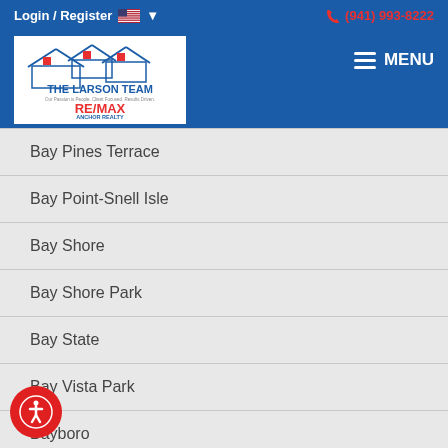Login / Register  (941) 993-8222  MENU
[Figure (logo): The Larson Team RE/MAX Anchor Realty logo with house illustration]
Bay Pines Terrace
Bay Point-Snell Isle
Bay Shore
Bay Shore Park
Bay State
Bay Vista Park
Bayboro
Baybridge Heights